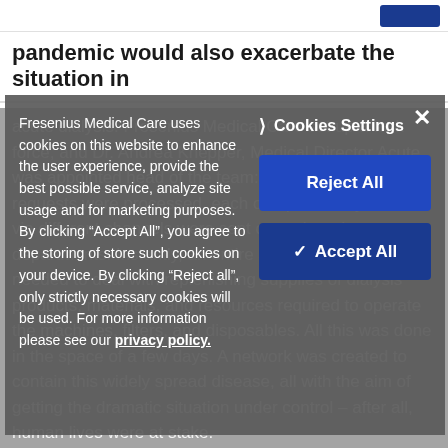pandemic would also exacerbate the situation in
acute dialysis. Fresenius Medical Care set up a task force, and Dr. Andrea Knepper, Medical Director Acute, was appointed head of the team: "All orders and requests were processed, each one personally. Orders via different channels were sent on to the relevant departments. Instantly, an entire shift at the clinic needed to deal with replenishing supplies of dialysis products, materials, and resources required to operate the machines, filters, and disposables. All this was done in the space of a few days. A network was created to contain this widely spread disease, all with the aim of getting the dramatic situation under control – after all, human lives were at stake.
Fresenius Medical Care uses cookies on this website to enhance the user experience, provide the best possible service, analyze site usage and for marketing purposes. By clicking “Accept All”, you agree to the storing of store such cookies on your device. By clicking “Reject all”, only strictly necessary cookies will be used. For more information please see our privacy policy.
Cookies Settings
Reject All
✓ Accept All